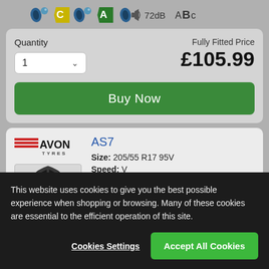[Figure (screenshot): Tyre rating icons: fuel efficiency C (yellow arrow badge), wet grip A (green arrow badge), noise 72dB icon, and ABC tyre label indicator]
Quantity
Fully Fitted Price
£105.99
[Figure (screenshot): Buy Now green button]
[Figure (logo): Avon Tyres logo - red striped logo with AVON TYRES text]
AS7
Size: 205/55 R17 95V
Speed: V
[Figure (photo): Avon AS7 tyre product photo]
This website uses cookies to give you the best possible experience when shopping or browsing. Many of these cookies are essential to the efficient operation of this site.
Cookies Settings
Accept All Cookies